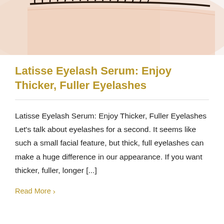[Figure (photo): Close-up photo of a woman's eye with eyelashes visible against a light skin/white background]
Latisse Eyelash Serum: Enjoy Thicker, Fuller Eyelashes
Latisse Eyelash Serum: Enjoy Thicker, Fuller Eyelashes Let’s talk about eyelashes for a second. It seems like such a small facial feature, but thick, full eyelashes can make a huge difference in our appearance. If you want thicker, fuller, longer [...]
Read More ›